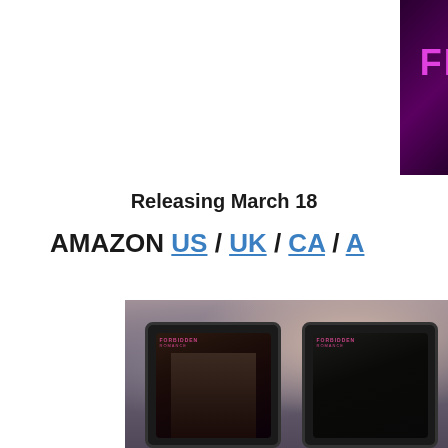[Figure (illustration): Book cover for 'Fighter's Best Friend' by A. Rivers, dark purple/black background with stylized title text in pink/magenta and white script lettering]
Releasing March 18
AMAZON US / UK / CA / A
[Figure (photo): Blurred photo of two people (romantic couple) in background, with two tablets in foreground displaying romance novel covers featuring male figures]